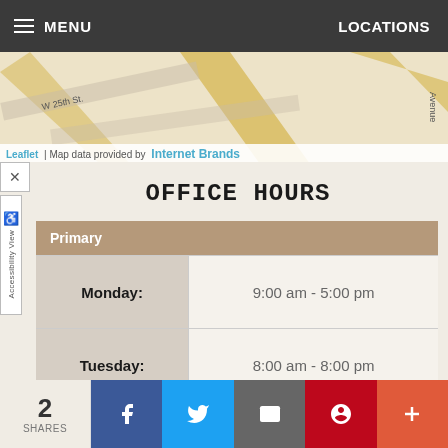MENU | LOCATIONS
[Figure (map): Street map showing W 25th St and surrounding area, with Leaflet and Internet Brands attribution]
OFFICE HOURS
| Primary |
| --- |
| Monday: | 9:00 am - 5:00 pm |
| Tuesday: | 8:00 am - 8:00 pm |
| Wednesday: | 8:00 am - 8:00 pm |
2 SHARES | Facebook | Twitter | Email | Pinterest | More